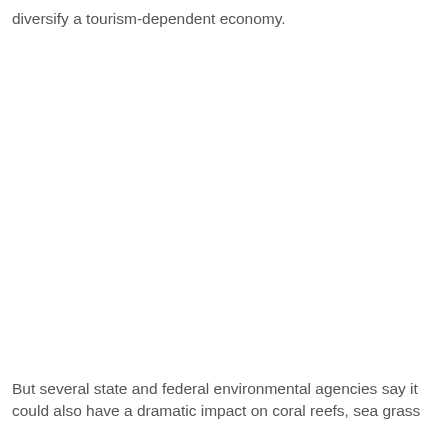diversify a tourism-dependent economy.
But several state and federal environmental agencies say it could also have a dramatic impact on coral reefs, sea grass